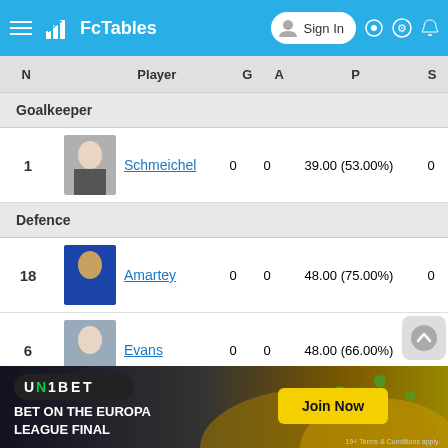FcTables — Sign In
| N | Player | G | A | P | S |
| --- | --- | --- | --- | --- | --- |
| Goalkeeper |  |  |  |  |  |
| 1 | Schmeichel | 0 | 0 | 39.00 (53.00%) | 0 |
| Defence |  |  |  |  |  |
| 18 | Amartey | 0 | 0 | 48.00 (75.00%) | 0 |
| 6 | Evans | 0 | 0 | 48.00 (66.00%) | 0 |
| 4 | Soyuncu | 0 | 0 | 30.00 (80.00%) | 0 |
| Midfield |  |  |  |  |  |
| 21 | Pereira | 0 | 0 | 41.00 (80.00%) | 0 |
[Figure (infographic): Unibet advertisement banner: BET ON THE EUROPA LEAGUE FINAL with Join Now button. 19+ Terms & Conditions apply.]